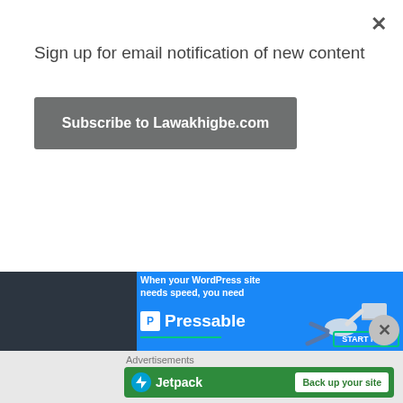Sign up for email notification of new content
Subscribe to Lawakhigbe.com
[Figure (infographic): Pressable advertisement banner with blue background showing 'When your WordPress site needs speed, you need Pressable' with a person flying horizontally holding a laptop, a green horizontal line divider, and a START NOW button]
Advertisements
[Figure (infographic): Jetpack advertisement in green showing Jetpack logo icon, brand name 'Jetpack', and white button 'Back up your site']